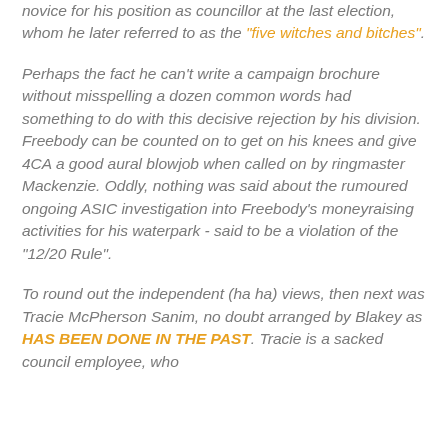novice for his position as councillor at the last election, whom he later referred to as the "five witches and bitches".
Perhaps the fact he can't write a campaign brochure without misspelling a dozen common words had something to do with this decisive rejection by his division. Freebody can be counted on to get on his knees and give 4CA a good aural blowjob when called on by ringmaster Mackenzie. Oddly, nothing was said about the rumoured ongoing ASIC investigation into Freebody's moneyraising activities for his waterpark - said to be a violation of the "12/20 Rule".
To round out the independent (ha ha) views, then next was Tracie McPherson Sanim, no doubt arranged by Blakey as HAS BEEN DONE IN THE PAST. Tracie is a sacked council employee, who